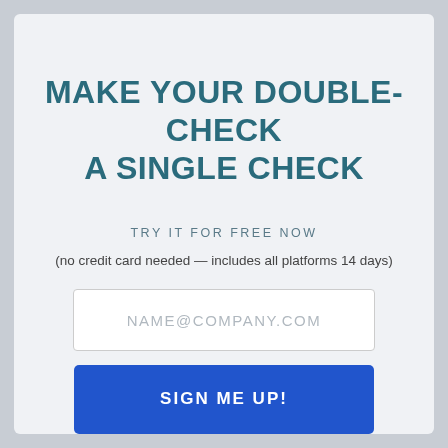MAKE YOUR DOUBLE-CHECK A SINGLE CHECK
TRY IT FOR FREE NOW
(no credit card needed — includes all platforms 14 days)
[Figure (screenshot): Email input field with placeholder text NAME@COMPANY.COM]
[Figure (screenshot): Blue button with text SIGN ME UP!]